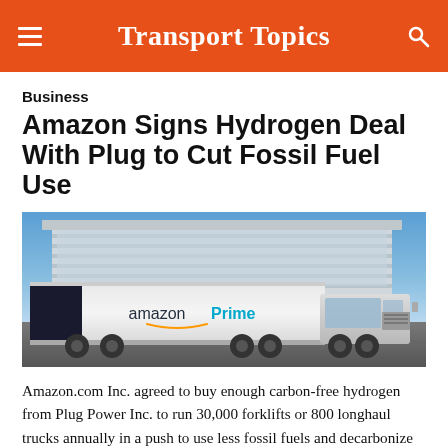Transport Topics
Business
Amazon Signs Hydrogen Deal With Plug to Cut Fossil Fuel Use
[Figure (photo): An Amazon Prime semi-truck and trailer parked in front of a large commercial building with a glass and steel facade under a blue sky.]
Amazon.com Inc. agreed to buy enough carbon-free hydrogen from Plug Power Inc. to run 30,000 forklifts or 800 longhaul trucks annually in a push to use less fossil fuels and decarbonize its operations. Plug's shares surged